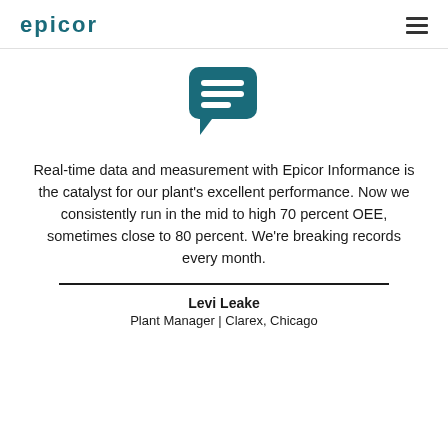EPICOR
[Figure (illustration): Teal speech bubble / chat icon with three horizontal white lines representing text]
Real-time data and measurement with Epicor Informance is the catalyst for our plant's excellent performance. Now we consistently run in the mid to high 70 percent OEE, sometimes close to 80 percent. We're breaking records every month.
Levi Leake
Plant Manager | Clarex, Chicago